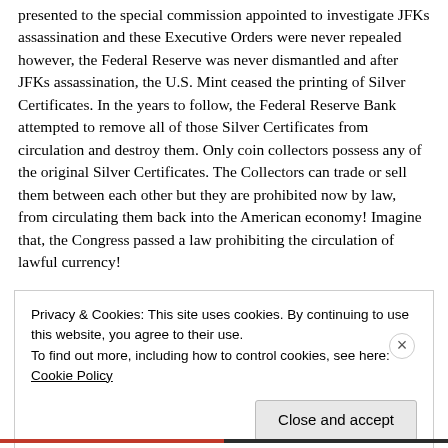presented to the special commission appointed to investigate JFKs assassination and these Executive Orders were never repealed however, the Federal Reserve was never dismantled and after JFKs assassination, the U.S. Mint ceased the printing of Silver Certificates. In the years to follow, the Federal Reserve Bank attempted to remove all of those Silver Certificates from circulation and destroy them. Only coin collectors possess any of the original Silver Certificates. The Collectors can trade or sell them between each other but they are prohibited now by law, from circulating them back into the American economy! Imagine that, the Congress passed a law prohibiting the circulation of lawful currency!
Privacy & Cookies: This site uses cookies. By continuing to use this website, you agree to their use.
To find out more, including how to control cookies, see here: Cookie Policy
Close and accept